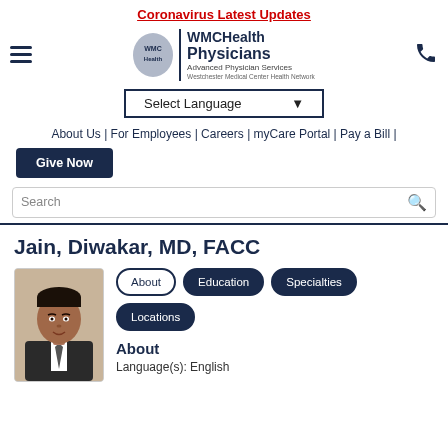Coronavirus Latest Updates
[Figure (logo): WMCHealth Physicians logo with shield icon, Advanced Physician Services, Westchester Medical Center Health Network]
Select Language ▼
About Us | For Employees | Careers | myCare Portal | Pay a Bill |
Give Now
Search
Jain, Diwakar, MD, FACC
[Figure (photo): Headshot photo of Dr. Jain, Diwakar, a male physician in a suit and tie]
About | Education | Specialties | Locations
About
Language(s): English